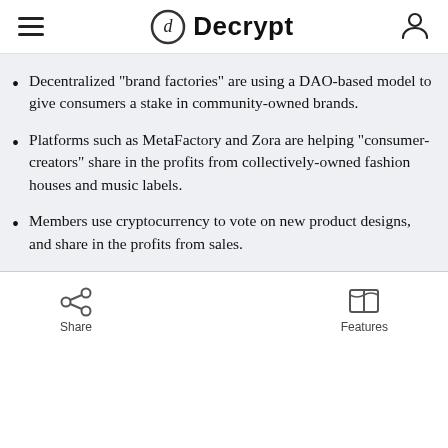Decrypt
Decentralized "brand factories" are using a DAO-based model to give consumers a stake in community-owned brands.
Platforms such as MetaFactory and Zora are helping "consumer-creators" share in the profits from collectively-owned fashion houses and music labels.
Members use cryptocurrency to vote on new product designs, and share in the profits from sales.
Share   Features